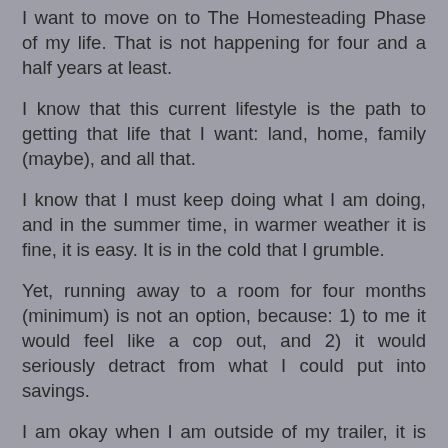I want to move on to The Homesteading Phase of my life. That is not happening for four and a half years at least.
I know that this current lifestyle is the path to getting that life that I want: land, home, family (maybe), and all that.
I know that I must keep doing what I am doing, and in the summer time, in warmer weather it is fine, it is easy. It is in the cold that I grumble.
Yet, running away to a room for four months (minimum) is not an option, because: 1) to me it would feel like a cop out, and 2) it would seriously detract from what I could put into savings.
I am okay when I am outside of my trailer, it is just waking up and coming home that I get the grumbliest. At least that is the pattern that I have noticed.
This is yet another thing within myself that I need to work on. It is, as we all are, a work in progress.